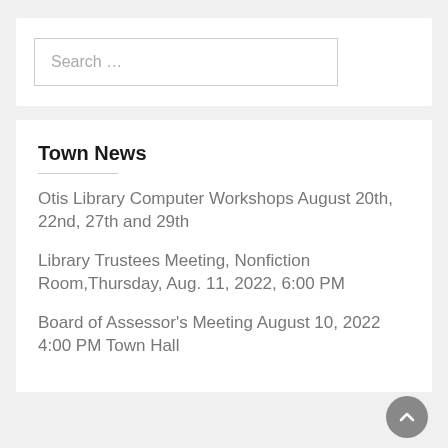Search …
Town News
Otis Library Computer Workshops August 20th, 22nd, 27th and 29th
Library Trustees Meeting, Nonfiction Room,Thursday, Aug. 11, 2022, 6:00 PM
Board of Assessor's Meeting August 10, 2022 4:00 PM Town Hall